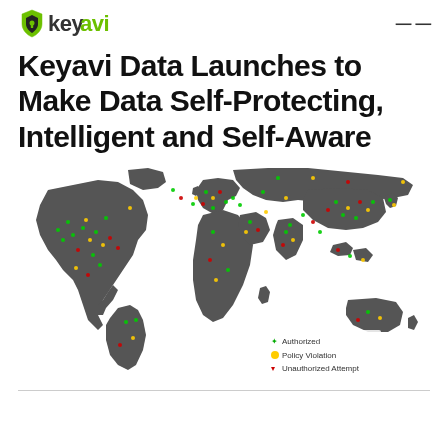keyavi [logo] [hamburger menu]
Keyavi Data Launches to Make Data Self-Protecting, Intelligent and Self-Aware
[Figure (map): World map showing colored dots indicating data access events globally. Legend shows: green plus = Authorized, yellow circle = Policy Violation, red triangle = Unauthorized Attempt. Dots are scattered across North America, Europe, Asia, and other regions over a dark gray landmass map.]